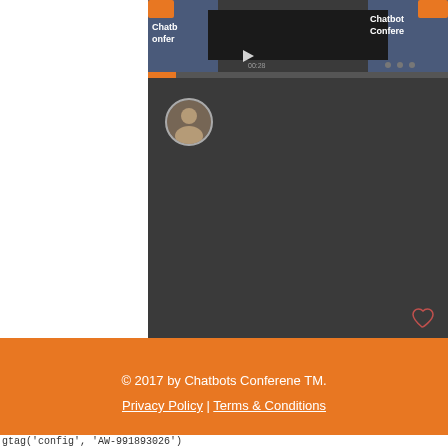[Figure (screenshot): A dark website page showing a Chatbot Conference video thumbnail at the top with a conference scene, a user avatar circle below, a heart/like icon, and an orange footer with copyright and links.]
© 2017 by Chatbots Conferene TM.
Privacy Policy | Terms & Conditions
gtag('config', 'AW-991893026')